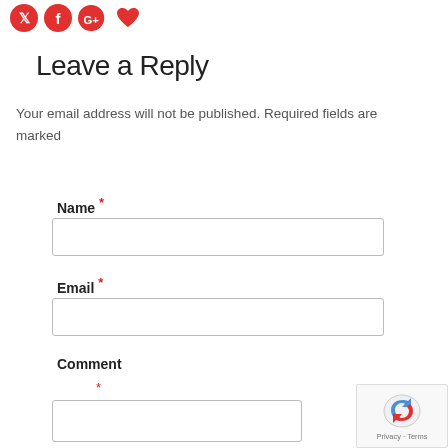[Figure (illustration): Social media sharing icons: Twitter bird (red), Facebook f (red), Google+ (red), heart/like (red)]
Leave a Reply
Your email address will not be published. Required fields are marked
Name *
Email *
Comment *
[Figure (screenshot): reCAPTCHA badge with Privacy and Terms links]